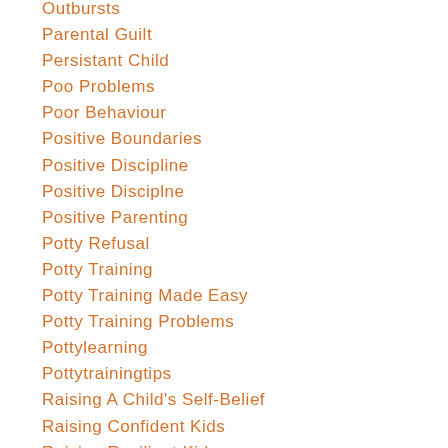Outbursts
Parental Guilt
Persistant Child
Poo Problems
Poor Behaviour
Positive Boundaries
Positive Discipline
Positive Disciplne
Positive Parenting
Potty Refusal
Potty Training
Potty Training Made Easy
Potty Training Problems
Pottylearning
Pottytrainingtips
Raising A Child's Self-Belief
Raising Confident Kids
Raising Resilient Kids
Raising Strong Kids
Refusing To Poo On The Potty
Resilience
Resilient Kids